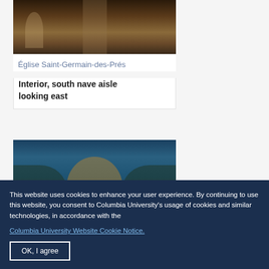[Figure (photo): Interior of Église Saint-Germain-des-Prés, showing the south nave aisle looking east, with dark stone architecture and arched ceiling]
Église Saint-Germain-des-Prés
Interior, south nave aisle looking east
[Figure (photo): Interior of a church showing painted mural decorations above arched arcades with golden mosaic or painted vault]
This website uses cookies to enhance your user experience. By continuing to use this website, you consent to Columbia University's usage of cookies and similar technologies, in accordance with the Columbia University Website Cookie Notice.
OK, I agree